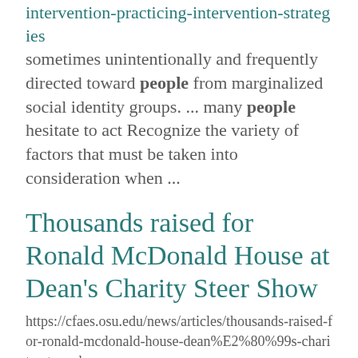intervention-practicing-intervention-strategies sometimes unintentionally and frequently directed toward people from marginalized social identity groups. ... many people hesitate to act Recognize the variety of factors that must be taken into consideration when ...
Thousands raised for Ronald McDonald House at Dean's Charity Steer Show
https://cfaes.osu.edu/news/articles/thousands-raised-for-ronald-mcdonald-house-dean%E2%80%99s-charity-steer-show
of Warren County) People's Choice: Team